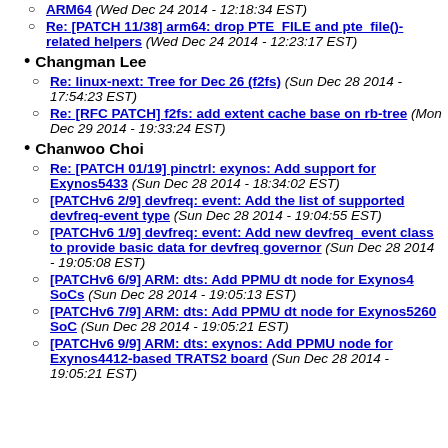ARM64 (Wed Dec 24 2014 - 12:18:34 EST)
Re: [PATCH 11/38] arm64: drop PTE_FILE and pte_file()-related helpers (Wed Dec 24 2014 - 12:23:17 EST)
Changman Lee
Re: linux-next: Tree for Dec 26 (f2fs) (Sun Dec 28 2014 - 17:54:23 EST)
Re: [RFC PATCH] f2fs: add extent cache base on rb-tree (Mon Dec 29 2014 - 19:33:24 EST)
Chanwoo Choi
Re: [PATCH 01/19] pinctrl: exynos: Add support for Exynos5433 (Sun Dec 28 2014 - 18:34:02 EST)
[PATCHv6 2/9] devfreq: event: Add the list of supported devfreq-event type (Sun Dec 28 2014 - 19:04:55 EST)
[PATCHv6 1/9] devfreq: event: Add new devfreq_event class to provide basic data for devfreq governor (Sun Dec 28 2014 - 19:05:08 EST)
[PATCHv6 6/9] ARM: dts: Add PPMU dt node for Exynos4 SoCs (Sun Dec 28 2014 - 19:05:13 EST)
[PATCHv6 7/9] ARM: dts: Add PPMU dt node for Exynos5260 SoC (Sun Dec 28 2014 - 19:05:21 EST)
[PATCHv6 9/9] ARM: dts: exynos: Add PPMU node for Exynos4412-based TRATS2 board (Sun Dec 28 2014 - 19:05:21 EST)